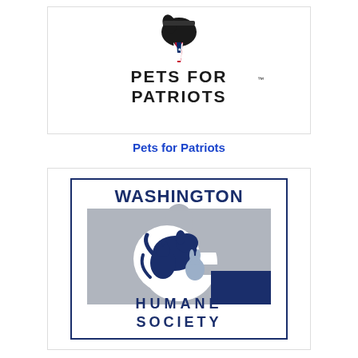[Figure (logo): Pets for Patriots logo: silhouette of a dog head wearing a military hat, with a red, white, and blue star ribbon, and the text 'PETS FOR PATRIOTS' with a trademark symbol]
Pets for Patriots
[Figure (logo): Washington Humane Society logo: navy blue text 'WASHINGTON' at top, gray silhouette of US Capitol building with white circular cutout containing navy blue silhouettes of a cat, dog, and rabbit, followed by widely-spaced text 'HUMANE SOCIETY']